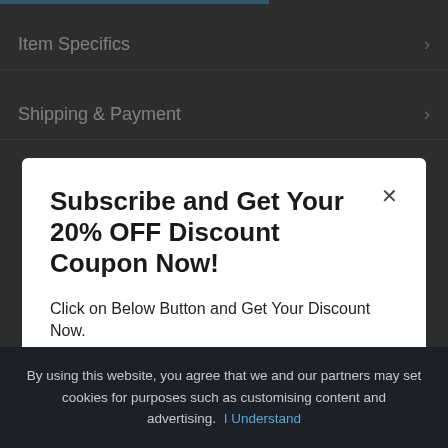Item Specifics
Shipping & Payment
Subscribe and Get Your 20% OFF Discount Coupon Now!
Click on Below Button and Get Your Discount Now.
Get Discount
By using this website, you agree that we and our partners may set cookies for purposes such as customising content and advertising.  I Understand